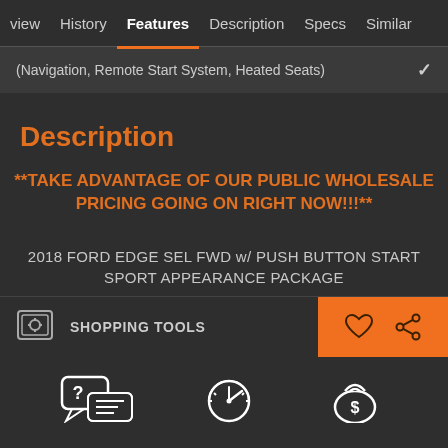view  History  Features  Description  Specs  Similar
(Navigation, Remote Start System, Heated Seats)
Description
**TAKE ADVANTAGE OF OUR PUBLIC WHOLESALE PRICING GOING ON RIGHT NOW!!!**
2018 FORD EDGE SEL FWD w/ PUSH BUTTON START SPORT APPEARANCE PACKAGE
SHOPPING TOOLS
[Figure (illustration): Row of white outline icons: chat/question bubble, clock/speedometer, money bag with dollar sign]